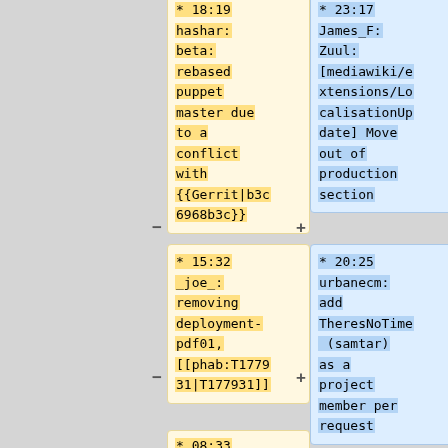* 18:19 hashar: beta: rebased puppet master due to a conflict with {{Gerrit|b3c6968b3c}}
* 23:17 James_F: Zuul: [mediawiki/extensions/LocalisationUpdate] Move out of production section
* 15:32 _joe_: removing deployment-pdf01, [[phab:T177931|T177931]]
* 20:25 urbanecm: add TheresNoTime (samtar) as a project member per request
* 08:33